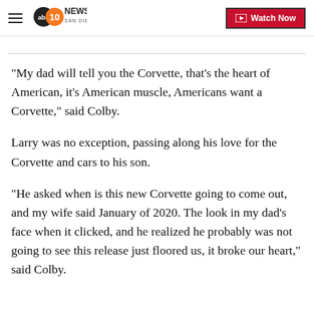abc10News San Diego | Watch Now
"My dad will tell you the Corvette, that's the heart of American, it's American muscle, Americans want a Corvette," said Colby.
Larry was no exception, passing along his love for the Corvette and cars to his son.
"He asked when is this new Corvette going to come out, and my wife said January of 2020. The look in my dad's face when it clicked, and he realized he probably was not going to see this release just floored us, it broke our heart," said Colby.